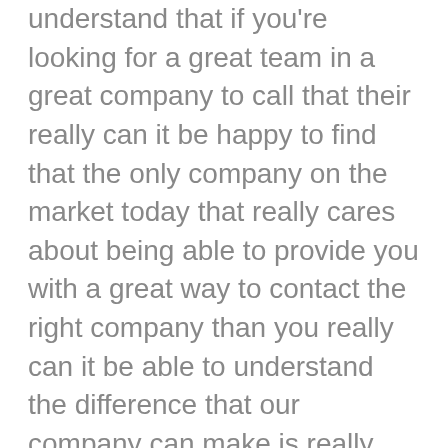understand that if you're looking for a great team in a great company to call that their really can it be happy to find that the only company on the market today that really cares about being able to provide you with a great way to contact the right company than you really can it be able to understand the difference that our company can make is really going to help people understand that we can it be that company that better than I want to call today.
That's why so easy so simple for people to find the quality out of what a company can provide as soon as you decide that their ready to call us today at